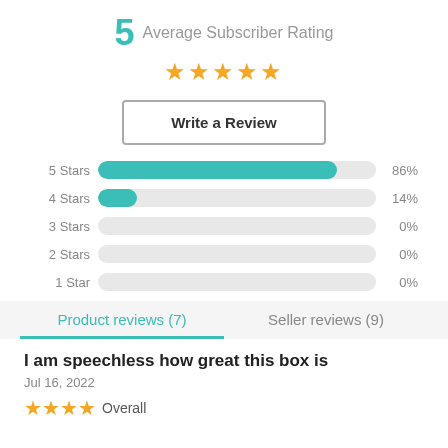5 Average Subscriber Rating
[Figure (other): 5 gold stars rating display]
Write a Review
[Figure (bar-chart): Star Rating Distribution]
Product reviews (7)    Seller reviews (9)
I am speechless how great this box is
Jul 16, 2022
★★★★ Overall